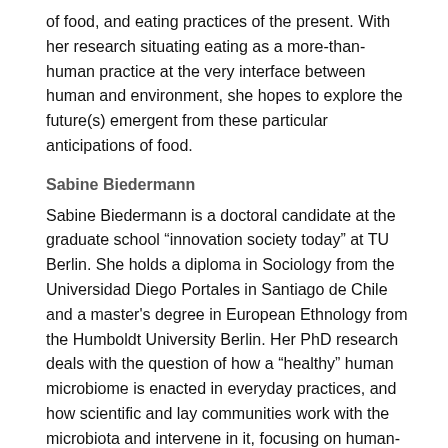of food, and eating practices of the present. With her research situating eating as a more-than-human practice at the very interface between human and environment, she hopes to explore the future(s) emergent from these particular anticipations of food.
Sabine Biedermann
Sabine Biedermann is a doctoral candidate at the graduate school “innovation society today” at TU Berlin. She holds a diploma in Sociology from the Universidad Diego Portales in Santiago de Chile and a master's degree in European Ethnology from the Humboldt University Berlin. Her PhD research deals with the question of how a “healthy” human microbiome is enacted in everyday practices, and how scientific and lay communities work with the microbiota and intervene in it, focusing on human-bacterial collaborations towards health and well being. With her research she intends to follow the now long-standing tradition of science and technology studies ethnographic inquiries and direct her attention to non-human agency, relations, and practices.